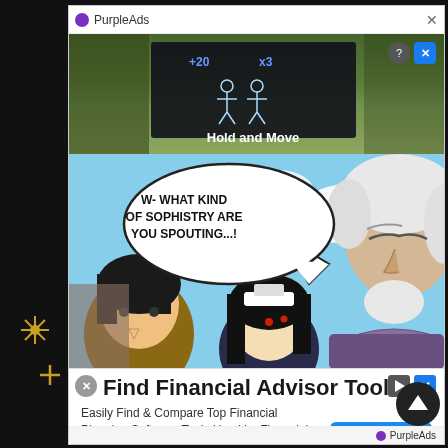[Figure (screenshot): A webpage/app screenshot showing a manga/webtoon reader with overlaid advertisements. Top ad shows 'PurpleAds' branding. A game advertisement banner shows 'Hold and Move' with score indicators (+20, x3) and stick figure icons on a dark background with outdoor scenery. Main manga panel shows an anime-style illustration with a white-haired elderly man and two other characters against a blue sky with clouds. A speech bubble reads 'W- WHAT KIND OF SOPHISTRY ARE YOU SPOUTING...!'. Bottom banner ad reads 'Find Financial Advisor Tool' with subtext 'Easily Find & Compare Top Financial Planning Software Tools Used by Financial Advisors' and a 'See More' button. PurpleAds branding at bottom. Scroll-to-top button at bottom right.]